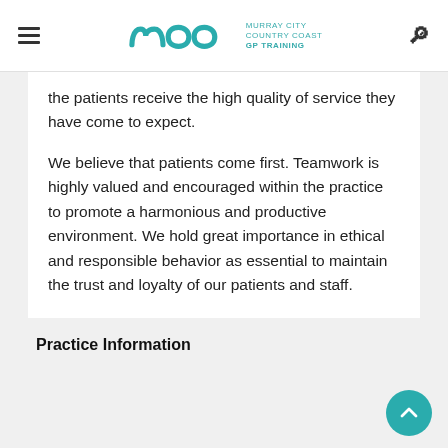MCCC — Murray City Country Coast GP Training
the patients receive the high quality of service they have come to expect.
We believe that patients come first. Teamwork is highly valued and encouraged within the practice to promote a harmonious and productive environment. We hold great importance in ethical and responsible behavior as essential to maintain the trust and loyalty of our patients and staff.
Practice Information